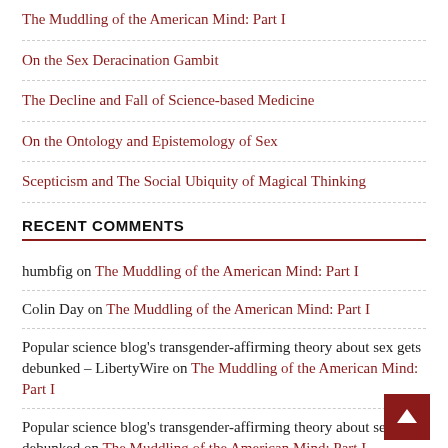The Muddling of the American Mind: Part I
On the Sex Deracination Gambit
The Decline and Fall of Science-based Medicine
On the Ontology and Epistemology of Sex
Scepticism and The Social Ubiquity of Magical Thinking
RECENT COMMENTS
humbfig on The Muddling of the American Mind: Part I
Colin Day on The Muddling of the American Mind: Part I
Popular science blog's transgender-affirming theory about sex gets debunked – LibertyWire on The Muddling of the American Mind: Part I
Popular science blog's transgender-affirming theory about sex gets debunked on The Muddling of the American Mind: Part I